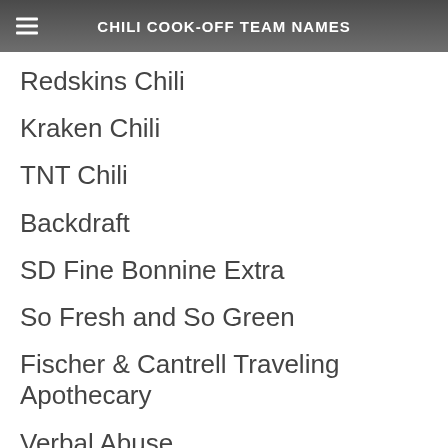CHILI COOK-OFF TEAM NAMES
Redskins Chili
Kraken Chili
TNT Chili
Backdraft
SD Fine Bonnine Extra
So Fresh and So Green
Fischer & Cantrell Traveling Apothecary
Verbal Abuse
Mean Mama Chili
Big Top Yankee Chili